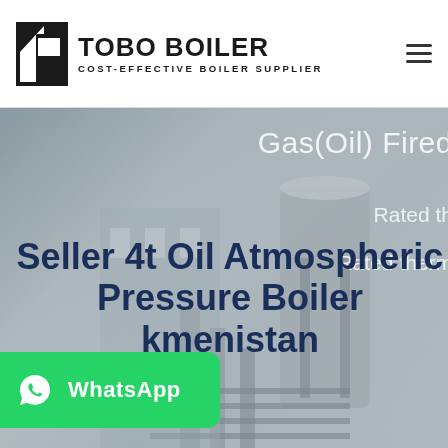[Figure (logo): TOBO BOILER logo with black geometric icon and text 'TOBO BOILER' with subtitle 'COST-EFFECTIVE BOILER SUPPLIER']
[Figure (photo): Hero banner showing industrial gas/oil fired boiler equipment. Partially visible text on right: 'Gas(Oil) Fired', 'Rated th...', 'Rated therm...' overlaid in light gray/white. Bottom overlay shows large bold dark blue title 'Seller 4t Oil Atmospheric Pressure Boiler ...tmenistan' and a WhatsApp button.]
Seller 4t Oil Atmospheric Pressure Boiler ...tmenistan
[Figure (other): WhatsApp contact button — green rounded rectangle with WhatsApp phone icon and label 'WhatsApp']